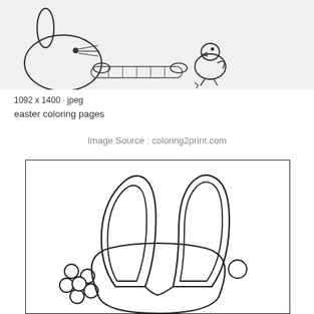[Figure (illustration): Easter-themed coloring page illustration: a bunny holding a carrot with a small chick, partial top portion visible against light gray background]
1092 x 1400 · jpeg
easter coloring pages
Image Source : coloring2print.com
[Figure (illustration): Easter coloring page showing a bunny from behind view with tall ears, a flower with petals on the lower left, and a small circle on the lower right. Black outline on white background inside a thin border rectangle.]